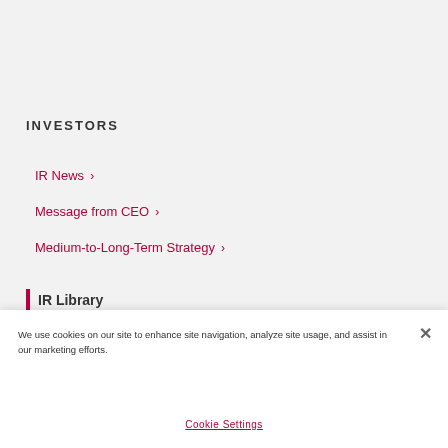INVESTORS
IR News
Message from CEO
Medium-to-Long-Term Strategy
IR Library
IR Library
We use cookies on our site to enhance site navigation, analyze site usage, and assist in our marketing efforts.
Cookie Settings